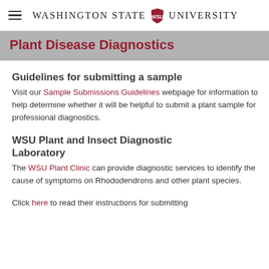Washington State University
Plant Disease Diagnostics
Guidelines for submitting a sample
Visit our Sample Submissions Guidelines webpage for information to help determine whether it will be helpful to submit a plant sample for professional diagnostics.
WSU Plant and Insect Diagnostic Laboratory
The WSU Plant Clinic can provide diagnostic services to identify the cause of symptoms on Rhododendrons and other plant species.
Click here to read their instructions for submitting